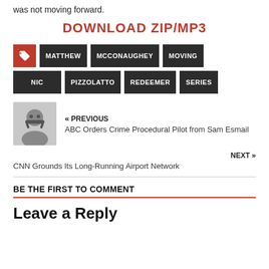was not moving forward.
DOWNLOAD ZIP/MP3
MATTHEW
MCCONAUGHEY
MOVING
NIC
PIZZOLATTO
REDEEMER
SERIES
« PREVIOUS
ABC Orders Crime Procedural Pilot from Sam Esmail
NEXT »
CNN Grounds Its Long-Running Airport Network
BE THE FIRST TO COMMENT
Leave a Reply